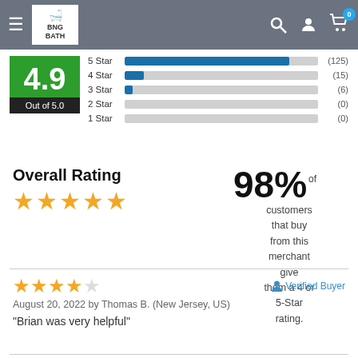BNG BATH
[Figure (bar-chart): Star rating distribution]
4.9 Out of 5.0
Overall Rating
98% of customers that buy from this merchant give them a 4 or 5-Star rating.
★★★★☆ Verified Buyer
August 20, 2022 by Thomas B. (New Jersey, US)
"Brian was very helpful"